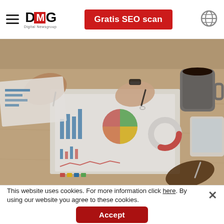DMG Digital Newsgroup | Gratis SEO scan
[Figure (photo): Overhead view of a business meeting with multiple people's hands on a table covered with analytics reports, pie charts, bar charts, and dashboards. A coffee mug and a tablet are also visible on the wooden table.]
This website uses cookies. For more information click here. By using our website you agree to these cookies.
Accept